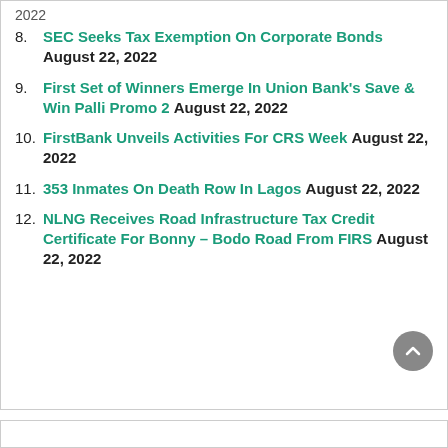2022
8. SEC Seeks Tax Exemption On Corporate Bonds August 22, 2022
9. First Set of Winners Emerge In Union Bank's Save & Win Palli Promo 2 August 22, 2022
10. FirstBank Unveils Activities For CRS Week August 22, 2022
11. 353 Inmates On Death Row In Lagos August 22, 2022
12. NLNG Receives Road Infrastructure Tax Credit Certificate For Bonny – Bodo Road From FIRS August 22, 2022